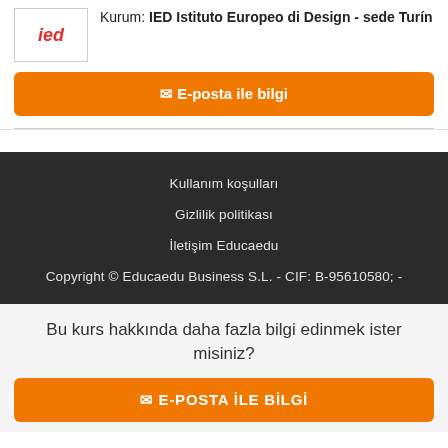Kurum: IED Istituto Europeo di Design - sede Turín
✉ E-posta ile bilgi
Kullanım koşulları
Gizlilik politikası
İletişim Educaedu
Copyright © Educaedu Business S.L. - CIF: B-95610580; -
Bu kurs hakkında daha fazla bilgi edinmek ister misiniz?
✉ E-POSTA İLE BİLGİ